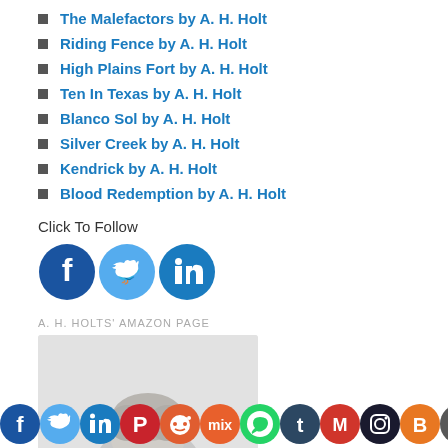The Malefactors by A. H. Holt
Riding Fence by A. H. Holt
High Plains Fort by A. H. Holt
Ten In Texas by A. H. Holt
Blanco Sol by A. H. Holt
Silver Creek by A. H. Holt
Kendrick by A. H. Holt
Blood Redemption by A. H. Holt
Click To Follow
[Figure (infographic): Social media follow icons: Facebook, Twitter, LinkedIn]
A. H. HOLTS' AMAZON PAGE
[Figure (photo): Partial photo of a person with gray/silver hair visible at the bottom of the image]
[Figure (infographic): Bottom social sharing bar with icons: Facebook, Twitter, LinkedIn, Pinterest, Reddit, Mix, WhatsApp, Tumblr, Gmail, Instagram, Blogger, More]